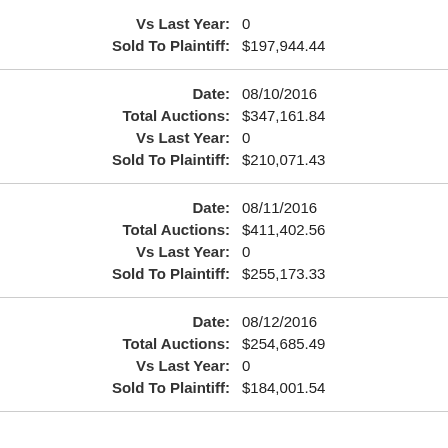Vs Last Year: 0
Sold To Plaintiff: $197,944.44
Date: 08/10/2016
Total Auctions: $347,161.84
Vs Last Year: 0
Sold To Plaintiff: $210,071.43
Date: 08/11/2016
Total Auctions: $411,402.56
Vs Last Year: 0
Sold To Plaintiff: $255,173.33
Date: 08/12/2016
Total Auctions: $254,685.49
Vs Last Year: 0
Sold To Plaintiff: $184,001.54